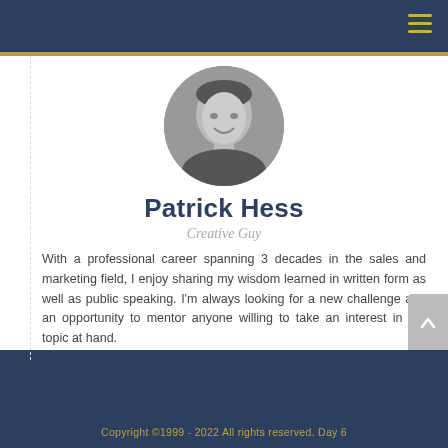[Figure (photo): Circular black and white profile photo of Patrick Hess, smiling man]
Patrick Hess
Creative Guy
With a professional career spanning 3 decades in the sales and marketing field, I enjoy sharing my wisdom learned in written form as well as public speaking. I'm always looking for a new challenge and an opportunity to mentor anyone willing to take an interest in the topic at hand.
[Figure (infographic): Social media icons: email, facebook, linkedin, instagram]
Copyright ©1999 - 2022 All rights reserved. Day 6